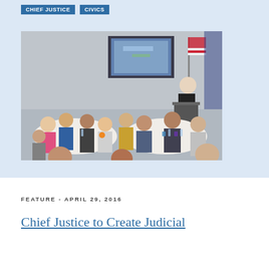CHIEF JUSTICE   CIVICS
[Figure (photo): A large conference room with people seated at round tables in the foreground; a woman in judicial robes stands at a podium in the background near a projection screen and an American flag.]
FEATURE - APRIL 29, 2016
Chief Justice to Create Judicial